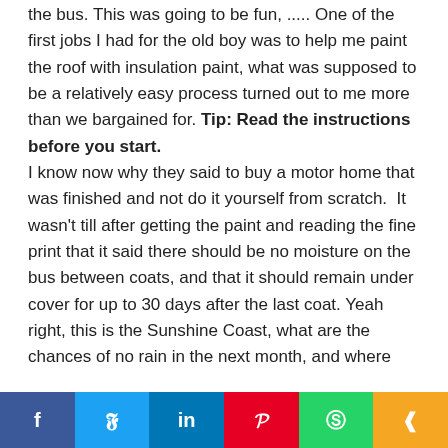the bus. This was going to be fun, ..... One of the first jobs I had for the old boy was to help me paint the roof with insulation paint, what was supposed to be a relatively easy process turned out to me more than we bargained for. Tip: Read the instructions before you start.

I know now why they said to buy a motor home that was finished and not do it yourself from scratch. It wasn't till after getting the paint and reading the fine print that it said there should be no moisture on the bus between coats, and that it should remain under cover for up to 30 days after the last coat. Yeah right, this is the Sunshine Coast, what are the chances of no rain in the next month, and where
f  t  in  P  (whatsapp)  (share)